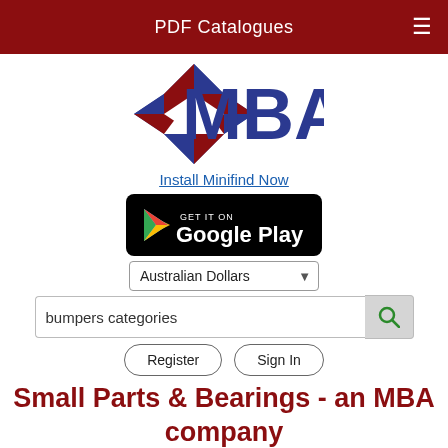PDF Catalogues
[Figure (logo): MBA logo with geometric diamond shape in blue and dark red triangles, with 'MBA' text in large blue bold font]
Install Minifind Now
[Figure (screenshot): Get it on Google Play button, black rounded rectangle badge]
Australian Dollars
bumpers categories
Register
Sign In
Small Parts & Bearings - an MBA company